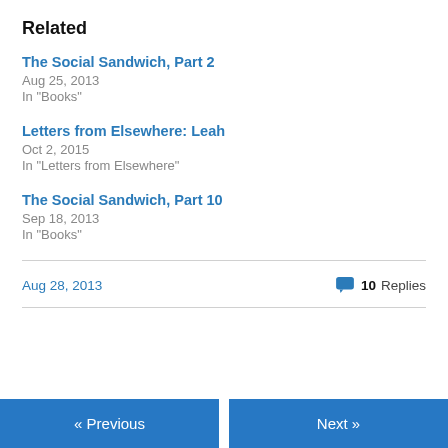Related
The Social Sandwich, Part 2
Aug 25, 2013
In "Books"
Letters from Elsewhere: Leah
Oct 2, 2015
In "Letters from Elsewhere"
The Social Sandwich, Part 10
Sep 18, 2013
In "Books"
Aug 28, 2013    💬 10 Replies
« Previous   Next »